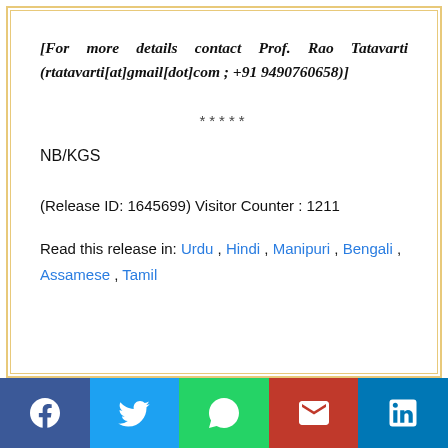[For more details contact Prof. Rao Tatavarti (rtatavarti[at]gmail[dot]com ; +91 9490760658)]
*****
NB/KGS
(Release ID: 1645699) Visitor Counter : 1211
Read this release in: Urdu , Hindi , Manipuri , Bengali , Assamese , Tamil